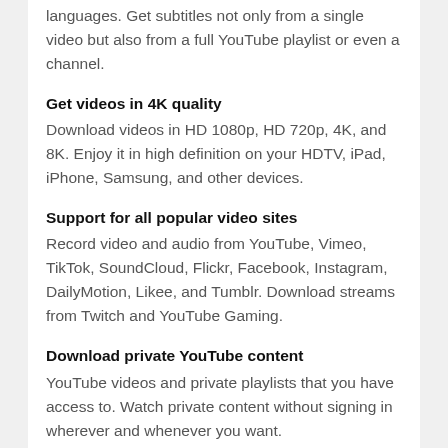languages. Get subtitles not only from a single video but also from a full YouTube playlist or even a channel.
Get videos in 4K quality
Download videos in HD 1080p, HD 720p, 4K, and 8K. Enjoy it in high definition on your HDTV, iPad, iPhone, Samsung, and other devices.
Support for all popular video sites
Record video and audio from YouTube, Vimeo, TikTok, SoundCloud, Flickr, Facebook, Instagram, DailyMotion, Likee, and Tumblr. Download streams from Twitch and YouTube Gaming.
Download private YouTube content
YouTube videos and private playlists that you have access to. Watch private content without signing in wherever and whenever you want.
Download 3D video